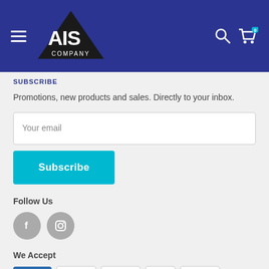[Figure (logo): AIS Company logo — white triangular logo with 'AIS' text and 'COMPANY' below, on dark blue navigation bar with hamburger menu, search icon, and cart icon with badge '0']
SUBSCRIBE
Promotions, new products and sales. Directly to your inbox.
Your email
Subscribe
Follow Us
[Figure (illustration): Two circular grey social media icons: Facebook (f) and Instagram (camera)]
We Accept
[Figure (illustration): Payment method icons: AMEX, Apple Pay, Mastercard, PayPal, Visa]